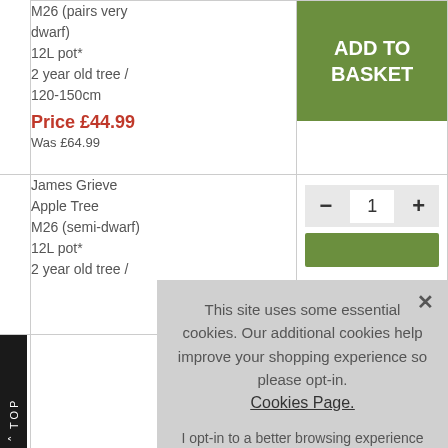M26 (pairs very dwarf)
12L pot*
2 year old tree / 120-150cm
Price £44.99
Was £64.99
ADD TO BASKET
James Grieve Apple Tree
M26 (semi-dwarf)
12L pot*
— 1 +
TOP
James Grieve
This site uses some essential cookies. Our additional cookies help improve your shopping experience so please opt-in. Cookies Page.
I opt-in to a better browsing experience
ACCEPT COOKIES